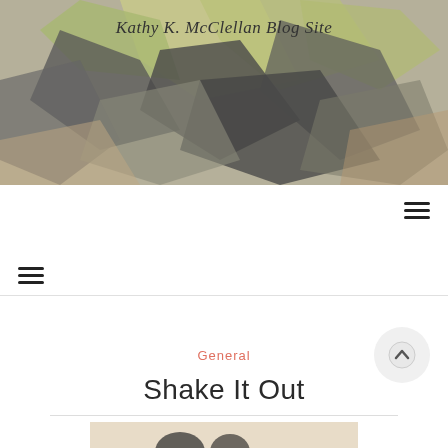[Figure (photo): Abstract colorful collage of overlapping angular shapes in green, grey, and brown tones used as blog header image]
Kathy K. McClellan Blog Site
[Figure (other): Hamburger menu icon (three horizontal lines) positioned at top right]
[Figure (other): Hamburger menu icon (three horizontal lines) positioned at left side]
[Figure (other): Scroll-to-top button (circle with upward arrow) at right side]
General
Shake It Out
[Figure (photo): Partial view of a decorative image at the bottom of the page]